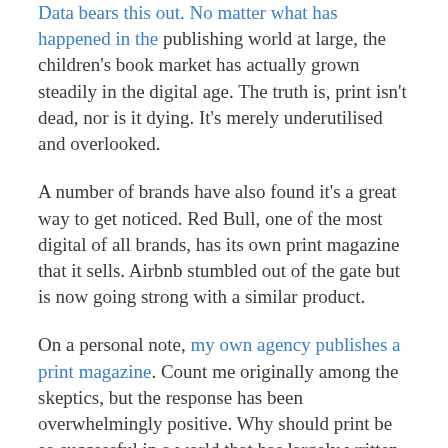Data bears this out. No matter what has happened in the publishing world at large, the children's book market has actually grown steadily in the digital age. The truth is, print isn't dead, nor is it dying. It's merely underutilised and overlooked.
A number of brands have also found it's a great way to get noticed. Red Bull, one of the most digital of all brands, has its own print magazine that it sells. Airbnb stumbled out of the gate but is now going strong with a similar product.
On a personal note, my own agency publishes a print magazine. Count me originally among the skeptics, but the response has been overwhelmingly positive. Why should print be so successful in a world that has largely written it off?
After all, it's broad stroke, untargeted, old school, and